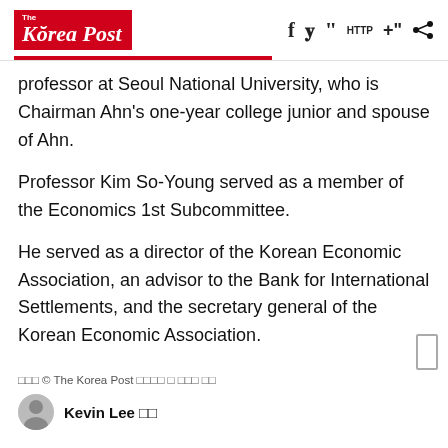The Korea Post
professor at Seoul National University, who is Chairman Ahn's one-year college junior and spouse of Ahn.
Professor Kim So-Young served as a member of the Economics 1st Subcommittee.
He served as a director of the Korean Economic Association, an advisor to the Bank for International Settlements, and the secretary general of the Korean Economic Association.
□□□ © The Korea Post □□□□ □ □□□ □□
Kevin Lee □□